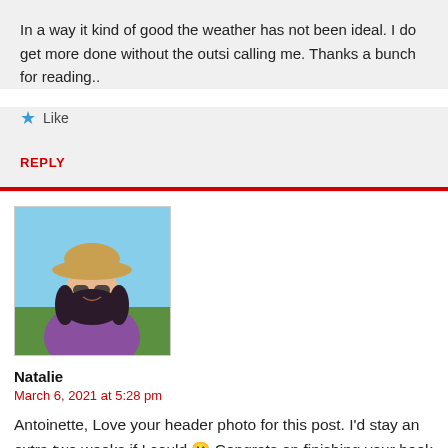In a way it kind of good the weather has not been ideal. I do get more done without the outsi calling me. Thanks a bunch for reading..
★ Like
REPLY
[Figure (photo): Avatar photo of Natalie, a woman wearing a hat and sunglasses, smiling outdoors]
Natalie
March 6, 2021 at 5:28 pm
Antoinette, Love your header photo for this post. I'd stay an extra two weeks if I could 🙂 Congrats on finishing your book draft. I'll celebrate March with a few good books. Thank you for linking with #WeekendCoffeeShare.